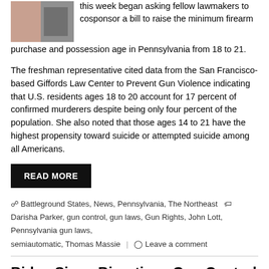this week began asking fellow lawmakers to cosponsor a bill to raise the minimum firearm purchase and possession age in Pennsylvania from 18 to 21.
The freshman representative cited data from the San Francisco-based Giffords Law Center to Prevent Gun Violence indicating that U.S. residents ages 18 to 20 account for 17 percent of confirmed murderers despite being only four percent of the population. She also noted that those ages 14 to 21 have the highest propensity toward suicide or attempted suicide among all Americans.
READ MORE
Battleground States, News, Pennsylvania, The Northeast   Darisha Parker, gun control, gun laws, Gun Rights, John Lott, Pennsylvania gun laws, semiautomatic, Thomas Massie   Leave a comment
Biden Signs Bipartisan Gun Control Measure Supported by 29 Republicans